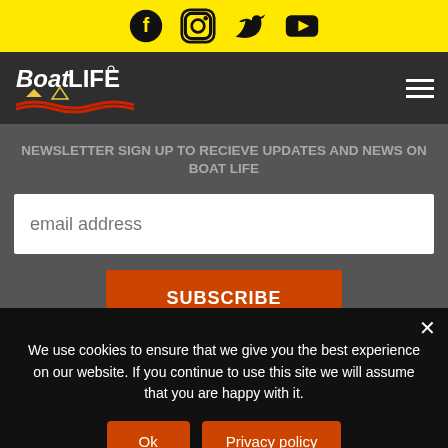Social media icons: Facebook, Instagram, Twitter, YouTube
[Figure (logo): BoatLIFE logo with boat graphic in white and red on dark background]
NEWSLETTER SIGN UP TO RECIEVE UPDATES AND NEWS ON BOAT LIFE
email address
SUBSCRIBE
DOWNLOAD CATALOG
We use cookies to ensure that we give you the best experience on our website. If you continue to use this site we will assume that you are happy with it.
Ok
Privacy policy